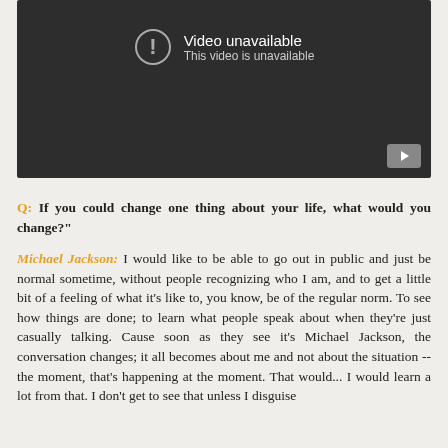[Figure (screenshot): Embedded video player showing 'Video unavailable' error screen with dark background, exclamation circle icon, and YouTube play button in bottom right corner.]
Q: If you could change one thing about your life, what would you change?"
Michael Jackson: I would like to be able to go out in public and just be normal sometime, without people recognizing who I am, and to get a little bit of a feeling of what it's like to, you know, be of the regular norm. To see how things are done; to learn what people speak about when they're just casually talking. Cause soon as they see it's Michael Jackson, the conversation changes; it all becomes about me and not about the situation -- the moment, that's happening at the moment. That would... I would learn a lot from that. I don't get to see that unless I disguise